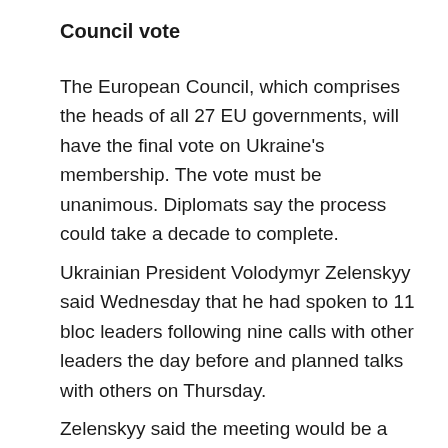Council vote
The European Council, which comprises the heads of all 27 EU governments, will have the final vote on Ukraine's membership. The vote must be unanimous. Diplomats say the process could take a decade to complete.
Ukrainian President Volodymyr Zelenskyy said Wednesday that he had spoken to 11 bloc leaders following nine calls with other leaders the day before and planned talks with others on Thursday.
Zelenskyy said the meeting would be a